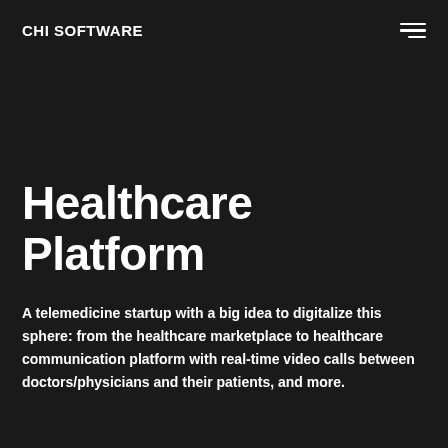CHI SOFTWARE
Healthcare Platform
A telemedicine startup with a big idea to digitalize this sphere: from the healthcare marketplace to healthcare communication platform with real-time video calls between doctors/physicians and their patients, and more.